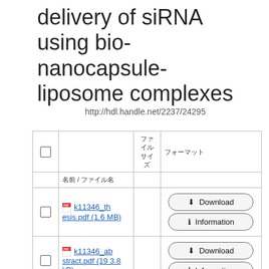delivery of siRNA using bio-nanocapsule-liposome complexes
http://hdl.handle.net/2237/24295
|  | 名前 / ファイル名 | ファイルサイズ | フォーマット |
| --- | --- | --- | --- |
| ☐ | k11346_thesis.pdf (1.6 MB) |  | Download / Information |
| ☐ | k11346_abstract.pdf (193.8 kB) |  | Download / Information |